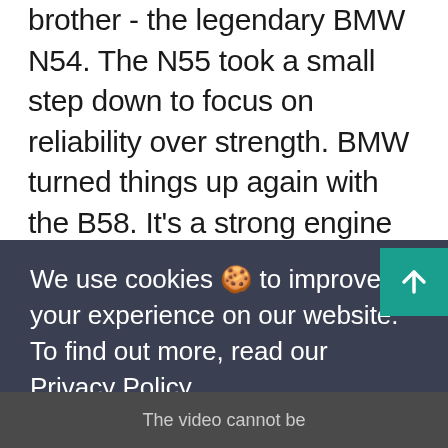brother - the legendary BMW N54. The N55 took a small step down to focus on reliability over strength. BMW turned things up again with the B58. It's a strong engine internally, and a major reliability improvement over the N54. However, no engine is indestructible. In this article, we discuss the upper limits of the B58 block
We use cookies 🍪 to improve your experience on our website. To find out more, read our Privacy Policy.
GOT IT!
The video cannot be